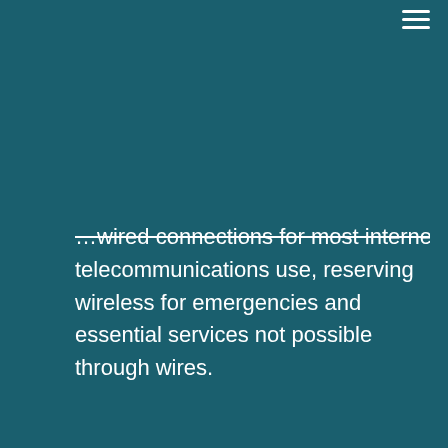...wired connections for most internet and telecommunications use, reserving wireless for emergencies and essential services not possible through wires.
[Figure (photo): Anti-5G protest photo showing demonstrators with signs reading 'STOP', 'ARE YOU AWARE?', and a 5G crossed-out symbol. A woman with arms raised in the center. An overlay popup reads 'Join the 5G Movement and feel the freedom'.]